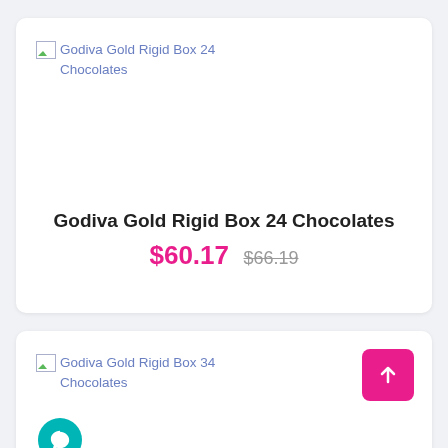[Figure (screenshot): Product card for Godiva Gold Rigid Box 24 Chocolates showing a broken image placeholder, product name, sale price $60.17 and original price $66.19 struck through]
Godiva Gold Rigid Box 24 Chocolates
$60.17  $66.19
[Figure (screenshot): Second product card for Godiva Gold Rigid Box 34 Chocolates showing a broken image placeholder, with a pink scroll-to-top button and a teal chat button]